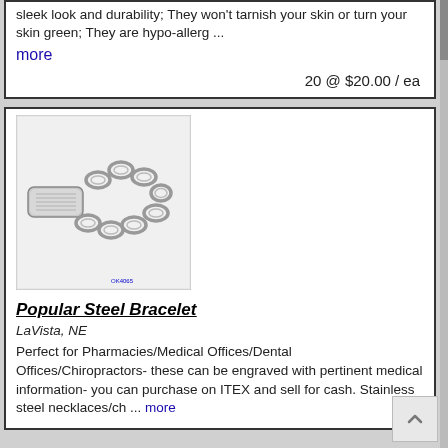sleek look and durability; They won't tarnish your skin or turn your skin green; They are hypo-allerg ...
more
20 @ $20.00 / ea
[Figure (photo): Photo of a stainless steel chain bracelet with oval links, product code OK4065]
Popular Steel Bracelet
LaVista, NE
Perfect for Pharmacies/Medical Offices/Dental Offices/Chiropractors- these can be engraved with pertinent medical information- you can purchase on ITEX and sell for cash. Stainless steel necklaces/ch ... more